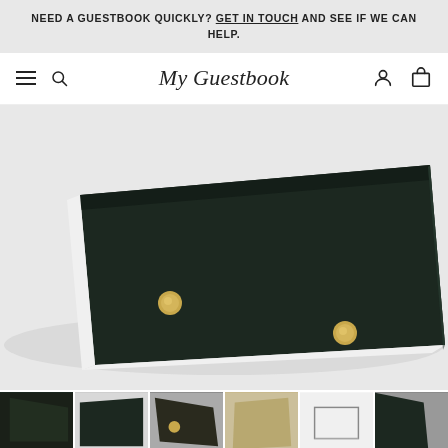NEED A GUESTBOOK QUICKLY? GET IN TOUCH AND SEE IF WE CAN HELP.
[Figure (logo): My Guestbook website navigation bar with hamburger menu, search icon, logo in cursive script 'My Guestbook', user account icon, and cart icon]
[Figure (photo): Close-up photo of a dark green/black hardcover guestbook with two gold circular rivets/studs, white pages visible on the spine, shot on white background]
[Figure (photo): Thumbnail strip showing 6 small preview images of the guestbook from different angles]